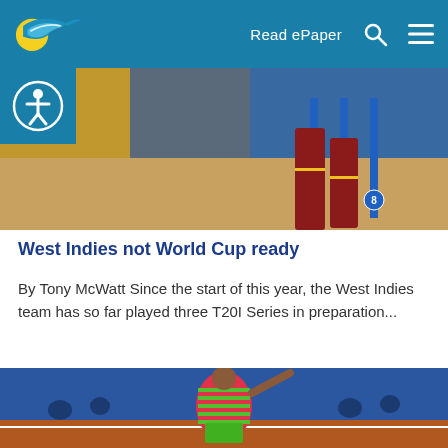Read ePaper
[Figure (photo): Cricket photo showing West Indies player bowling, with blue stumps visible and maroon uniform, stadium seating in background]
West Indies not World Cup ready
By Tony McWatt Since the start of this year, the West Indies team has so far played three T20I Series in preparation...
[Figure (photo): Indoor sports photo showing a player in pink and green striped shirt swinging, with blue stadium seating and brown court floor visible]